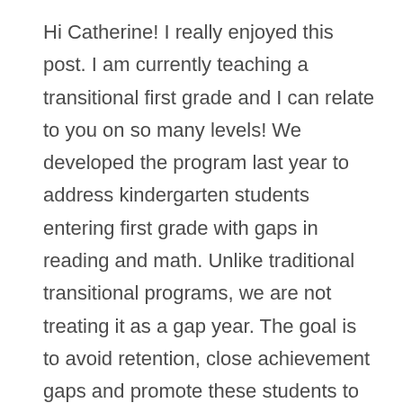Hi Catherine! I really enjoyed this post. I am currently teaching a transitional first grade and I can relate to you on so many levels! We developed the program last year to address kindergarten students entering first grade with gaps in reading and math. Unlike traditional transitional programs, we are not treating it as a gap year. The goal is to avoid retention, close achievement gaps and promote these students to 2nd Grade. Although our programs serve different purposes, we share a lot of the same pros and cons. I absolutely love teaching this